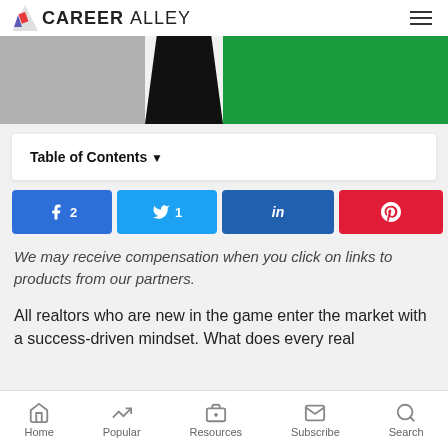CareerAlley
[Figure (photo): Hero banner image with gray, black, and green sections]
Table of Contents
[Figure (infographic): Social share buttons: Facebook 2, Twitter 1, LinkedIn, Pinterest, 3 SHARES]
We may receive compensation when you click on links to products from our partners.
All realtors who are new in the game enter the market with a success-driven mindset. What does every real
Home  Popular  Resources  Subscribe  Search